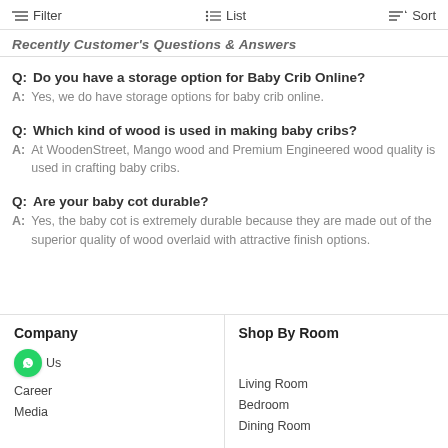Filter   List   Sort
Recently Customer's Questions & Answers
Q: Do you have a storage option for Baby Crib Online?
A: Yes, we do have storage options for baby crib online.
Q: Which kind of wood is used in making baby cribs?
A: At WoodenStreet, Mango wood and Premium Engineered wood quality is used in crafting baby cribs.
Q: Are your baby cot durable?
A: Yes, the baby cot is extremely durable because they are made out of the superior quality of wood overlaid with attractive finish options.
Company
Shop By Room
About Us
Career
Media
Living Room
Bedroom
Dining Room